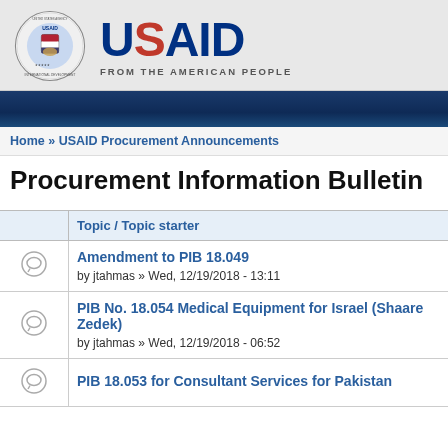[Figure (logo): USAID logo with seal and 'FROM THE AMERICAN PEOPLE' tagline]
Home » USAID Procurement Announcements
Procurement Information Bulletin
|  | Topic / Topic starter |
| --- | --- |
| [icon] | Amendment to PIB 18.049
by jtahmas » Wed, 12/19/2018 - 13:11 |
| [icon] | PIB No. 18.054 Medical Equipment for Israel (Shaare Zedek)
by jtahmas » Wed, 12/19/2018 - 06:52 |
| [icon] | PIB 18.053 for Consultant Services for Pakistan |